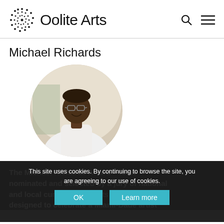Oolite Arts
Michael Richards
[Figure (photo): Circular profile photo of Michael Richards, a man wearing glasses and a white outfit, smiling, standing in front of a light background with what appears to be a map or artwork.]
The Michael Richards Award – to be nominated and selected by a jury of national and local cu... – is designed to celebrate a Miami-Dade artist
This site uses cookies. By continuing to browse the site, you are agreeing to our use of cookies.